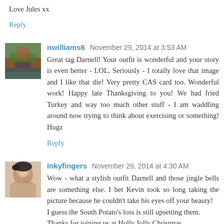Love Jules xx
Reply
nwilliams6 November 29, 2014 at 3:53 AM
Great tag Darnell! Your outfit is wonderful and your story is even better - LOL. Seriously - I totally love that image and I like that die! Very pretty CAS card too. Wonderful work! Happy late Thanksgiving to you! We had fried Turkey and way too much other stuff - I am waddling around now trying to think about exercising or something! Hugz
Reply
Inkyfingers November 29, 2014 at 4:30 AM
Wow - what a stylish outfit Darnell and those jingle bells are something else. I bet Kevin took so long taking the picture because he couldn't take his eyes off your beauty! I guess the South Potato's loss is still upsetting them. Thanks for joining us at Holly Jolly Christmas.